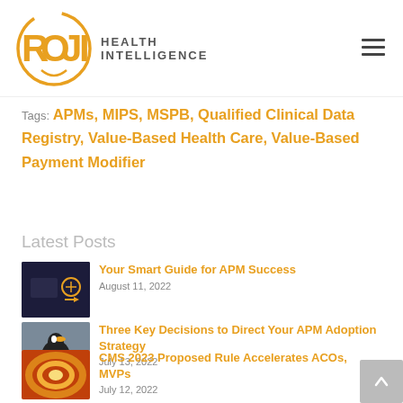ROJI HEALTH INTELLIGENCE
Tags: APMs, MIPS, MSPB, Qualified Clinical Data Registry, Value-Based Health Care, Value-Based Payment Modifier
Latest Posts
[Figure (photo): Thumbnail image for APM Success guide post]
Your Smart Guide for APM Success
August 11, 2022
[Figure (photo): Thumbnail image of a puffin bird on rocks]
Three Key Decisions to Direct Your APM Adoption Strategy
July 13, 2022
[Figure (photo): Thumbnail image with orange swirl pattern]
CMS 2023 Proposed Rule Accelerates ACOs, MVPs
July 12, 2022